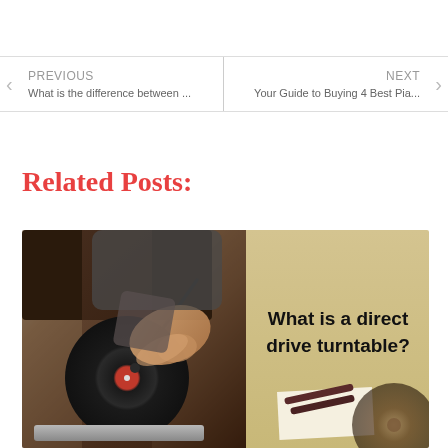PREVIOUS
What is the difference between ...
NEXT
Your Guide to Buying 4 Best Pia...
Related Posts:
[Figure (photo): Photo of a person's hand placing a needle on a spinning vinyl record on a turntable, with a text overlay on a tan/beige background reading 'What is a direct drive turntable?']